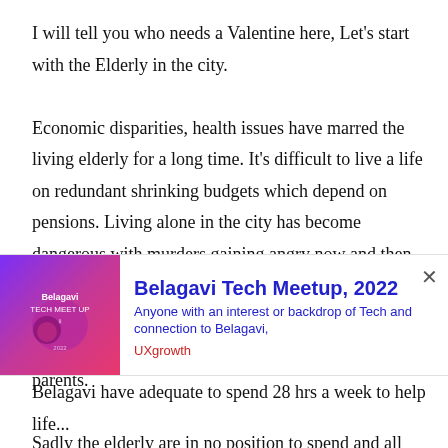I will tell you who needs a Valentine here, Let's start with the Elderly in the city. Economic disparities, health issues have marred the living elderly for a long time. It's difficult to live a life on redundant shrinking budgets which depend on pensions. Living alone in the city has become dangerous with murders gaining angry now and then. A single health-related event and with no insurance there is nothing to pay. Every home has all NRI son who has plenty of money but can't give time to his parents. Sadly the elderly are in no position to spend and all they need
[Figure (other): Advertisement banner for Belagavi Tech Meetup 2022 with a purple/pink gradient thumbnail image on the left, bold blue title 'Belagavi Tech Meetup, 2022', subtitle 'Anyone with an interest or backdrop of Tech and connection to Belagavi,' in blue, and source 'UXgrowth' in red, with an X close button.]
Belagavi have adequate to spend 28 hrs a week to help life...